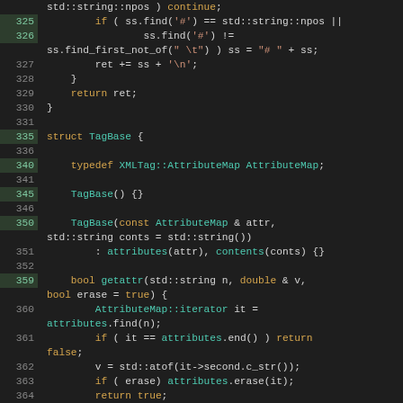[Figure (screenshot): Source code screenshot showing C++ code with syntax highlighting. Lines 325-375 displaying struct TagBase definition and methods including getattr functions. Dark theme editor with green line indicators and line numbers.]